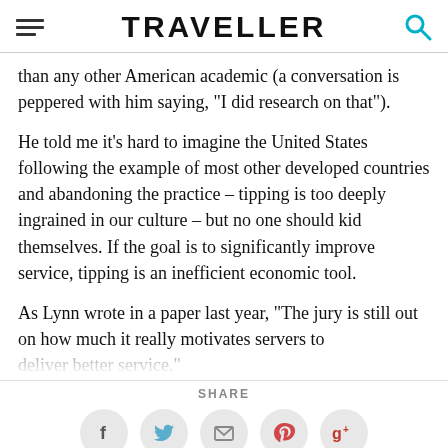TRAVELLER
than any other American academic (a conversation is peppered with him saying, "I did research on that").
He told me it's hard to imagine the United States following the example of most other developed countries and abandoning the practice – tipping is too deeply ingrained in our culture – but no one should kid themselves. If the goal is to significantly improve service, tipping is an inefficient economic tool.
As Lynn wrote in a paper last year, "The jury is still out on how much it really motivates servers to deliver better service."
SHARE